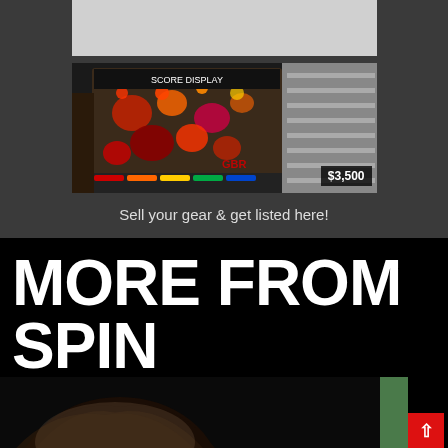[Figure (photo): Light gray placeholder rectangle above pinball image]
[Figure (photo): Pinball machine arcade game lit up with colorful lights, price badge showing $3,500 in lower right corner]
Sell your gear & get listed here!
MORE FROM SPIN
[Figure (photo): Partial view of a person's head/hair at bottom of page, green element visible at right edge]